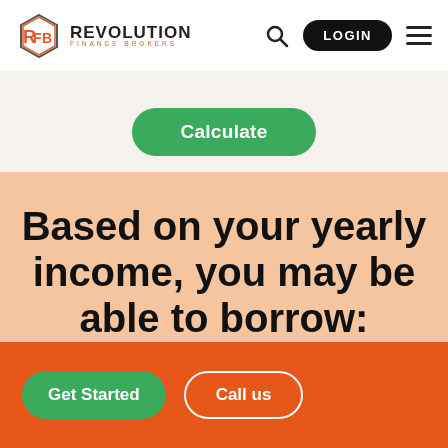[Figure (logo): Revolution Finance Brokers logo with hexagonal icon in orange and white]
REVOLUTION FINANCE BROKERS — LOGIN
Calculate
Based on your yearly income, you may be able to borrow:
Get Started
Call us